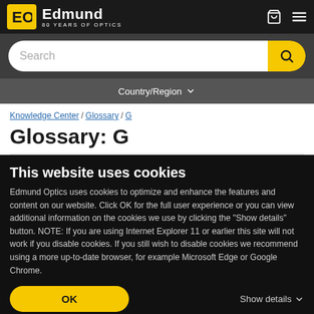Edmund Optics 80 YEARS OF OPTICS
Search
Country/Region
Knowledge Center / Glossary / G
Glossary: G
This website uses cookies
Edmund Optics uses cookies to optimize and enhance the features and content on our website. Click OK for the full user experience or you can view additional information on the cookies we use by clicking the "Show details" button. NOTE: If you are using Internet Explorer 11 or earlier this site will not work if you disable cookies. If you still wish to disable cookies we recommend using a more up-to-date browser, for example Microsoft Edge or Google Chrome.
OK
Show details